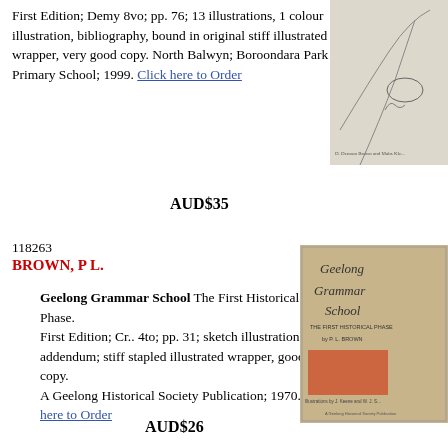First Edition; Demy 8vo; pp. 76; 13 illustrations, 1 colour illustration, bibliography, bound in original stiff illustrated wrapper, very good copy. North Balwyn; Boroondara Park Primary School; 1999. Click here to Order
[Figure (photo): Book cover image, partially visible, showing an illustration]
AUD$35
118263
BROWN, P L.
Geelong Grammar School The First Historical Phase. First Edition; Cr.. 4to; pp. 31; sketch illustrations, addendum; stiff stapled illustrated wrapper, good copy. A Geelong Historical Society Publication; 1970. Click here to Order
[Figure (photo): Book cover of Geelong Grammar School: The First Historical Phase by P.L. Brown, showing illustrated wrapper with red and black text]
AUD$26